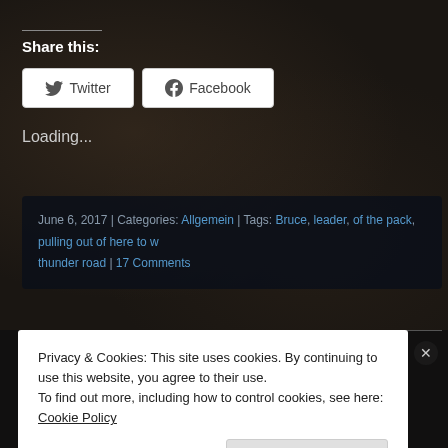Share this:
Twitter
Facebook
Loading...
June 6, 2017 | Categories: Allgemein | Tags: Bruce, leader, of the pack, pulling out of here to w thunder road | 17 Comments
BLOG PER E-MAIL FOLGEN
Gib deine E-Mail-adresse ein um diese Bl
Privacy & Cookies: This site uses cookies. By continuing to use this website, you agree to their use. To find out more, including how to control cookies, see here: Cookie Policy
Close and accept